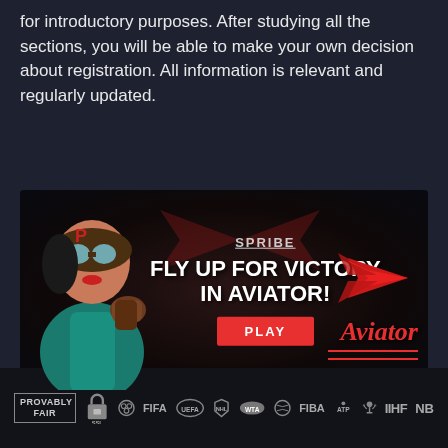for introductory purposes. After studying all the sections, you will be able to make your own decision about registration. All information is relevant and regularly updated.
[Figure (illustration): Aviator game banner by Spribe. Shows a cartoon female pilot on the left, center text 'FLY UP FOR VICTORY IN AVIATOR!' with a PLAY button, and Aviator logo on the right with a red plane silhouette. Dark red/black background.]
[Figure (logo): Footer bar with partner logos: PROVABLY FAIR badge, SSL lock, FIFA, UEFA, NHL, WTA, sports ball logo, FIBA, ATP, IIHF, NB logos in gray/white on dark background.]